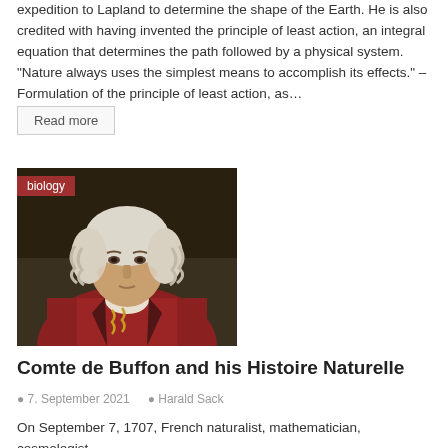expedition to Lapland to determine the shape of the Earth. He is also credited with having invented the principle of least action, an integral equation that determines the path followed by a physical system. "Nature always uses the simplest means to accomplish its effects." – Formulation of the principle of least action, as…
Read more
[Figure (photo): Portrait painting of Comte de Buffon, a man in 18th century dress wearing a red coat with white lace, with white powdered wig, against a dark background. A red 'biology' tag overlay appears in the top-left corner.]
Comte de Buffon and his Histoire Naturelle
7. September 2021   Harald Sack
On September 7, 1707, French naturalist, mathematician, cosmologist,